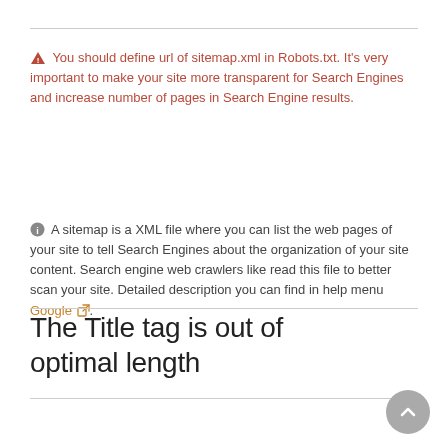⚠ You should define url of sitemap.xml in Robots.txt. It's very important to make your site more transparent for Search Engines and increase number of pages in Search Engine results.
ℹ A sitemap is a XML file where you can list the web pages of your site to tell Search Engines about the organization of your site content. Search engine web crawlers like read this file to better scan your site. Detailed description you can find in help menu Google ↗.
The Title tag is out of optimal length